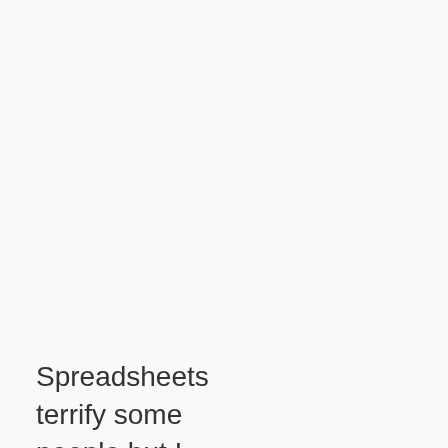Spreadsheets terrify some people but I